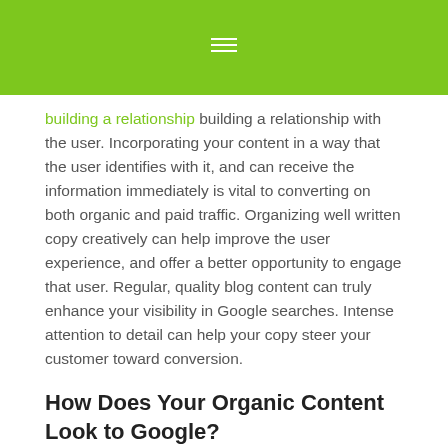[Figure (other): Green header bar with hamburger menu icon]
building a relationship with the user. Incorporating your content in a way that the user identifies with it, and can receive the information immediately is vital to converting on both organic and paid traffic. Organizing well written copy creatively can help improve the user experience, and offer a better opportunity to engage that user. Regular, quality blog content can truly enhance your visibility in Google searches. Intense attention to detail can help your copy steer your customer toward conversion.
How Does Your Organic Content Look to Google?